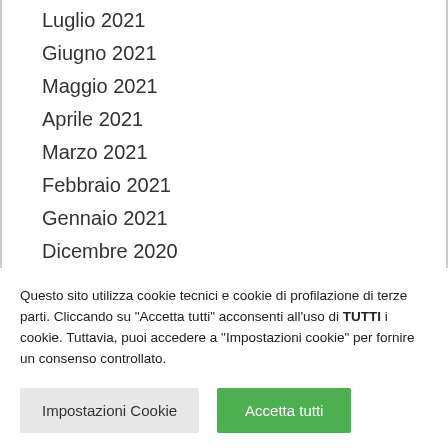Luglio 2021
Giugno 2021
Maggio 2021
Aprile 2021
Marzo 2021
Febbraio 2021
Gennaio 2021
Dicembre 2020
Novembre 2020
Ottobre 2020
Settembre 2020
Agosto 2020
Questo sito utilizza cookie tecnici e cookie di profilazione di terze parti. Cliccando su "Accetta tutti" acconsenti all'uso di TUTTI i cookie. Tuttavia, puoi accedere a "Impostazioni cookie" per fornire un consenso controllato.
Impostazioni Cookie | Accetta tutti